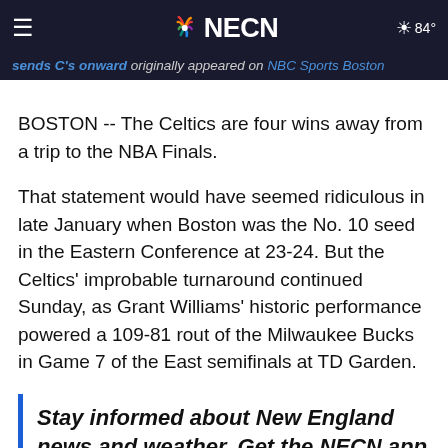NECN — NBC Sports Boston — 84°
sends C's onward originally appeared on NBC Sports Boston
BOSTON -- The Celtics are four wins away from a trip to the NBA Finals.
That statement would have seemed ridiculous in late January when Boston was the No. 10 seed in the Eastern Conference at 23-24. But the Celtics' improbable turnaround continued Sunday, as Grant Williams' historic performance powered a 109-81 rout of the Milwaukee Bucks in Game 7 of the East semifinals at TD Garden.
Stay informed about New England news and weather. Get the NECN app for iOS or Android and pick your